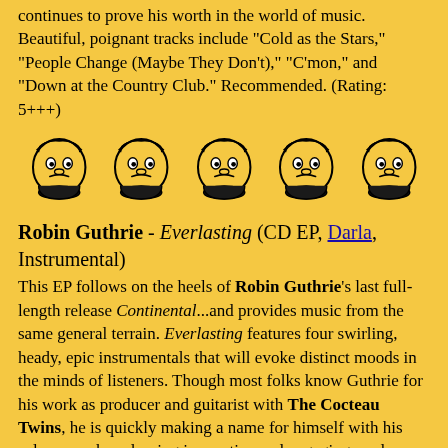continues to prove his worth in the world of music. Beautiful, poignant tracks include "Cold as the Stars," "People Change (Maybe They Don't)," "C'mon," and "Down at the Country Club." Recommended. (Rating: 5+++)
[Figure (illustration): Five cartoon face illustrations in a row, each depicting a chubby face with decorative hair/hat, shown in black ink on yellow background]
Robin Guthrie - Everlasting (CD EP, Darla, Instrumental)
This EP follows on the heels of Robin Guthrie's last full-length release Continental...and provides music from the same general terrain. Everlasting features four swirling, heady, epic instrumentals that will evoke distinct moods in the minds of listeners. Though most folks know Guthrie for his work as producer and guitarist with The Cocteau Twins, he is quickly making a name for himself with his solo career by releasing innovative and engaging modern mood music. This is a short disc, clocking in at just over 17 minutes...but Guthrie makes good use of this short amount of time, providing soothing and slightly surreal audio